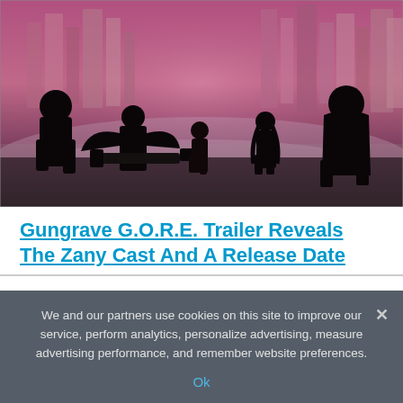[Figure (illustration): Anime-style illustration showing silhouettes of several characters walking away toward a futuristic city skyline with a purple/pink sky and mist on the ground. Multiple characters of varying sizes, one carrying a large weapon.]
Gungrave G.O.R.E. Trailer Reveals The Zany Cast And A Release Date
We and our partners use cookies on this site to improve our service, perform analytics, personalize advertising, measure advertising performance, and remember website preferences.
Ok